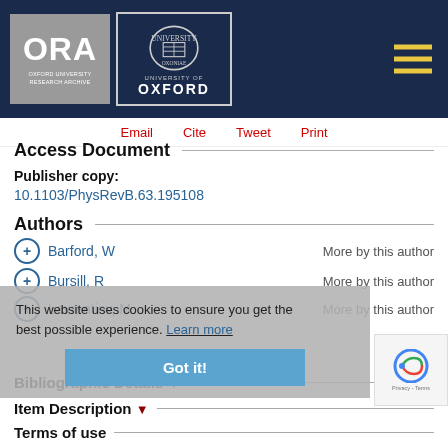[Figure (logo): ORA Oxford University Research Archive logo and University of Oxford crest logo on dark navy header with hamburger menu icon]
Email   Cite   Tweet   Print
Access Document
Publisher copy:
10.1103/PhysRevB.63.195108
Authors
Barford, W   More by this author
Bursill, R   More by this author
Lavrentiev, M   More by this author
This website uses cookies to ensure you get the best possible experience. Learn more
Bibliographic Details
Item Description
Terms of use